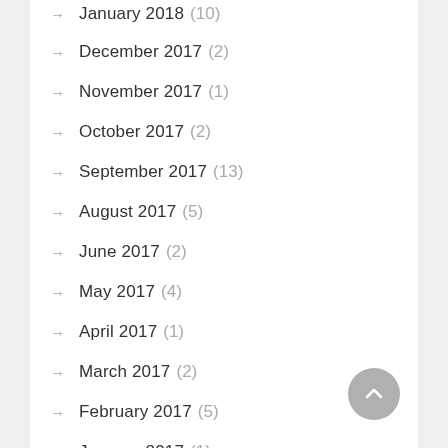January 2018 (10)
December 2017 (2)
November 2017 (1)
October 2017 (2)
September 2017 (13)
August 2017 (5)
June 2017 (2)
May 2017 (4)
April 2017 (1)
March 2017 (2)
February 2017 (5)
January 2017 (1)